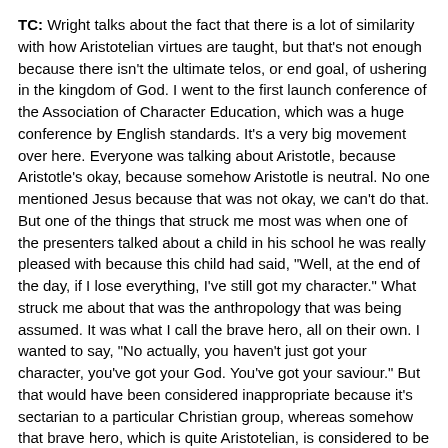TC: Wright talks about the fact that there is a lot of similarity with how Aristotelian virtues are taught, but that's not enough because there isn't the ultimate telos, or end goal, of ushering in the kingdom of God. I went to the first launch conference of the Association of Character Education, which was a huge conference by English standards. It's a very big movement over here. Everyone was talking about Aristotle, because Aristotle's okay, because somehow Aristotle is neutral. No one mentioned Jesus because that was not okay, we can't do that. But one of the things that struck me most was when one of the presenters talked about a child in his school he was really pleased with because this child had said, "Well, at the end of the day, if I lose everything, I've still got my character." What struck me about that was the anthropology that was being assumed. It was what I call the brave hero, all on their own. I wanted to say, "No actually, you haven't just got your character, you've got your God. You've got your saviour." But that would have been considered inappropriate because it's sectarian to a particular Christian group, whereas somehow that brave hero, which is quite Aristotelian, is considered to be universal. I think we need to challenge that discourse.
BG: It's also individualistic, isn't it? The assumption is that you make your own character, whereas one of the points about the